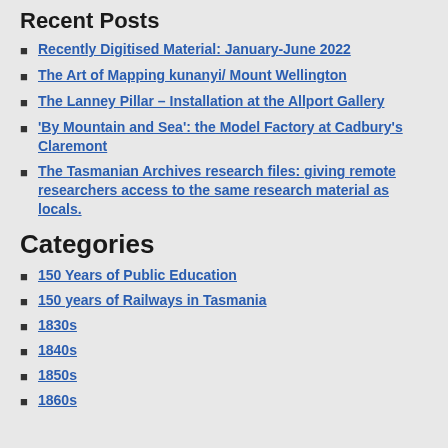Recent Posts
Recently Digitised Material: January-June 2022
The Art of Mapping kunanyi/ Mount Wellington
The Lanney Pillar – Installation at the Allport Gallery
'By Mountain and Sea': the Model Factory at Cadbury's Claremont
The Tasmanian Archives research files: giving remote researchers access to the same research material as locals.
Categories
150 Years of Public Education
150 years of Railways in Tasmania
1830s
1840s
1850s
1860s